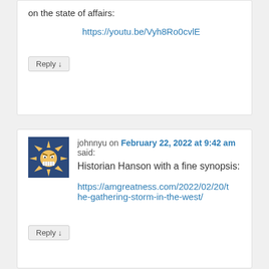on the state of affairs:
https://youtu.be/Vyh8Ro0cvlE
Reply ↓
johnnyu on February 22, 2022 at 9:42 am said:
Historian Hanson with a fine synopsis:
https://amgreatness.com/2022/02/20/the-gathering-storm-in-the-west/
Reply ↓